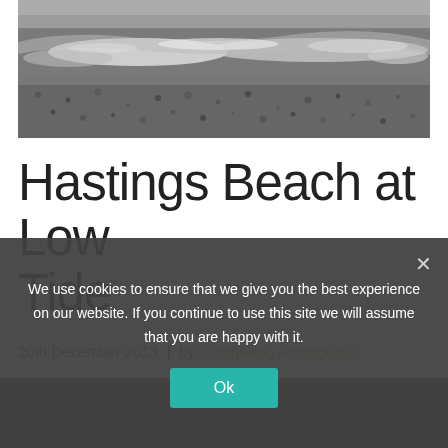[Figure (photo): Black and white photograph of Hastings Beach at low tide, showing waves crashing on a pebble beach with ocean in the background]
Hastings Beach at Low Tide
20th December 2013  |  by Compelling Photography
[Figure (photo): Dark partial photo visible behind cookie consent banner, appears to be a beach scene]
We use cookies to ensure that we give you the best experience on our website. If you continue to use this site we will assume that you are happy with it.